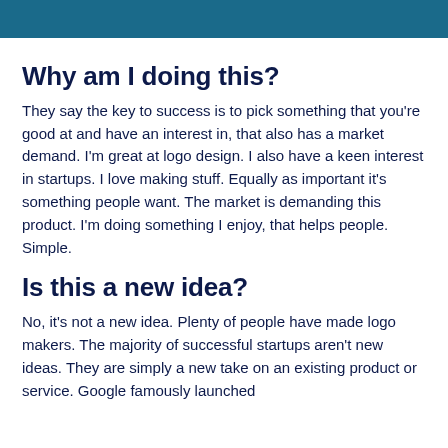Why am I doing this?
They say the key to success is to pick something that you're good at and have an interest in, that also has a market demand. I'm great at logo design. I also have a keen interest in startups. I love making stuff. Equally as important it's something people want. The market is demanding this product. I'm doing something I enjoy, that helps people. Simple.
Is this a new idea?
No, it's not a new idea. Plenty of people have made logo makers. The majority of successful startups aren't new ideas. They are simply a new take on an existing product or service. Google famously launched